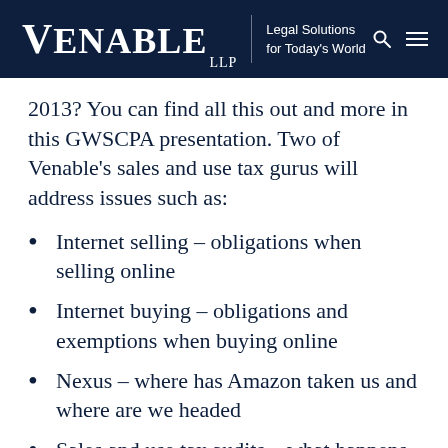Venable LLP | Legal Solutions for Today's World
2013? You can find all this out and more in this GWSCPA presentation. Two of Venable's sales and use tax gurus will address issues such as:
Internet selling – obligations when selling online
Internet buying – obligations and exemptions when buying online
Nexus – where has Amazon taken us and where are we headed
Sales and use tax audits – what happens